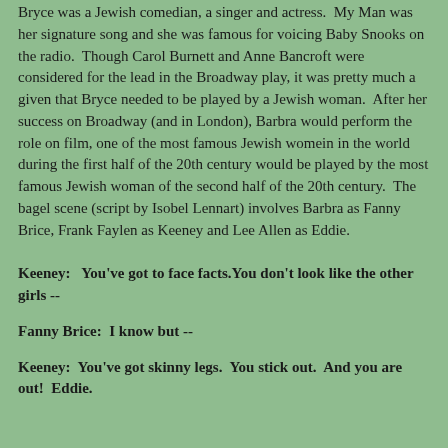Bryce was a Jewish comedian, a singer and actress.  My Man was her signature song and she was famous for voicing Baby Snooks on the radio.  Though Carol Burnett and Anne Bancroft were considered for the lead in the Broadway play, it was pretty much a given that Bryce needed to be played by a Jewish woman.  After her success on Broadway (and in London), Barbra would perform the role on film, one of the most famous Jewish womein in the world during the first half of the 20th century would be played by the most famous Jewish woman of the second half of the 20th century.  The bagel scene (script by Isobel Lennart) involves Barbra as Fanny Brice, Frank Faylen as Keeney and Lee Allen as Eddie.
Keeney:   You've got to face facts.You don't look like the other girls --
Fanny Brice:  I know but --
Keeney:  You've got skinny legs.  You stick out.  And you are out!  Eddie.